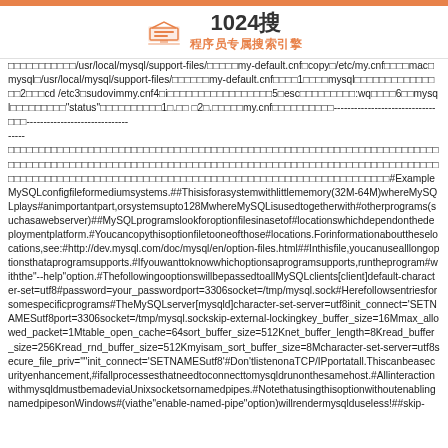1024搜 程序员专属搜索引擎
□□□□□□□□□□□/usr/local/mysql/support-files/□□□□□my-default.cnf□copy□/etc/my.cnf□□□□mac□mysql□/usr/local/mysql/support-files/□□□□□□my-default.cnf□□□□1□□□□mysql□□□□□□□□□□□□□□□2□□□cd /etc3□sudovimmy.cnf4□i□□□□□□□□□□□□□□□□□5□esc□□□□□□□□□:wq□□□□6□□mysql□□□□□□□□□"status"□□□□□□□□□□1□.□□  □2□.□□□□□my.cnf□□□□□□□□□□□------------------------------□□□------------------------------
-----
□□□□□□□□□□□□□□□□□□□□□□□□□□□□□□□□□□□□□□□□□□□□□□□□□□□□□□□□□□□□□□□□□□□□□□□□□□□□□□□□□□□□□□□□□□□□□□□□□□□□□□□□□□□□□□□□□□□□□□□□□□□□□□□□□□□□□□□□□□□□□□□□□□□□□□□□□□□□□□□□□□□□□□□□□□□□□□□□□□□□□□□□□□□□□□□□□□□□□□□□□□□#ExampleMySQLconfigfileformediumsystems.##Thisisforasystemwithlittlememory(32M-64M)whereMySQLplays#animportantpart,orsystemsupto128MwhereMySQLisusedtogetherwith#otherprograms(suchasawebserver)##MySQLprogramslookforoptionfilesinasetof#locationswhichdependonthedeploymentplatform.#Youcancopythisoptionfiletoooneofthose#locations.Forinformationabouttheselocations,see:#http://dev.mysql.com/doc/mysql/en/option-files.html##Inthisfile,youcanusealllongoptionsthataprogramsupports.#IfyouwanttoknowwhichoptionsaprogramsupportsruntheprHgramm#withthe"--help"option.#ThefollowingoHtionswillbepassedtoallMySQLclients[client]default-character-set=utf8#password=your_passwordport=3306socket=/tmp/mysql.sock#Herefollowsentriesforsomespecificprograms#TheMySQLserver[mysqld]character-set-server=utf8init_connect='SETNAMESutf8port=3306socket=/tmp/mysql.sockskip-external-lockingkey_buffer_size=16Mmax_allowed_packet=1Mtable_open_cache=64sort_buffer_size=512Knet_buffer_length=8Kread_buffer_size=256Kread_rnd_buffer_size=512Kmyisam_sort_buffer_size=8Mcharacter-set-server=utf8secure_file_priv=""init_connect='SETNAMESutf8'#Don'tlistenonaTCP/IPportatall.Thiscanbeasecurityenhancement,#ifallprocessesthatneedtoconnecttomysqldrunonthesamehost.#AllinteractionwithmysqldmustbemadeviaUnixsocketsornamedpipes.#NotethatusingthisoptionwithoutenablingnamedpipesonWindows#(viathe"enable-named-pipe"option)willrendermysqlduseless!##skip-